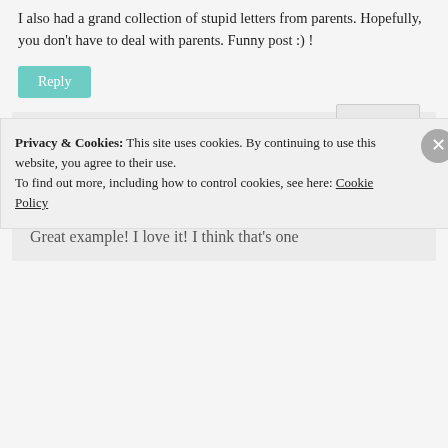I also had a grand collection of stupid letters from parents. Hopefully, you don't have to deal with parents. Funny post :) !
Reply
[Figure (photo): Black and white avatar photo of a coffee cup or similar object]
limr says:
Wednesday, 11 May 2011 at 19:09
Great example! I love it! I think that's one
Privacy & Cookies: This site uses cookies. By continuing to use this website, you agree to their use.
To find out more, including how to control cookies, see here: Cookie Policy
Close and accept